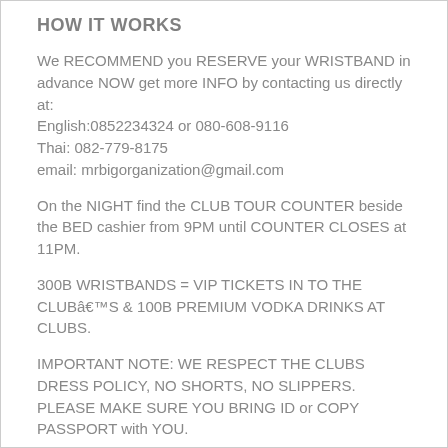HOW IT WORKS
We RECOMMEND you RESERVE your WRISTBAND in advance NOW get more INFO by contacting us directly at:
English:0852234324 or 080-608-9116
Thai: 082-779-8175
email: mrbigorganization@gmail.com
On the NIGHT find the CLUB TOUR COUNTER beside the BED cashier from 9PM until COUNTER CLOSES at 11PM.
300B WRISTBANDS = VIP TICKETS IN TO THE CLUBâ€™S & 100B PREMIUM VODKA DRINKS AT CLUBS.
IMPORTANT NOTE: WE RESPECT THE CLUBS DRESS POLICY, NO SHORTS, NO SLIPPERS. PLEASE MAKE SURE YOU BRING ID or COPY PASSPORT with YOU.